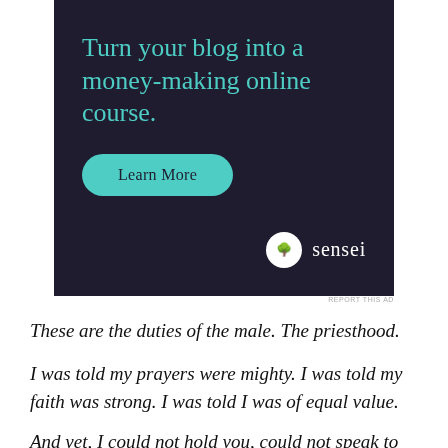[Figure (illustration): Advertisement banner with dark navy background. Large teal/green heading text reads 'Turn your blog into a money-making online course.' A teal rounded button reads 'Learn More'. Bottom right shows a white circle logo with a tree icon and the word 'sensei' in white text.]
REPORT THIS AD
These are the duties of the male. The priesthood.
I was told my prayers were mighty. I was told my faith was strong. I was told I was of equal value.
And yet, I could not hold you, could not speak to